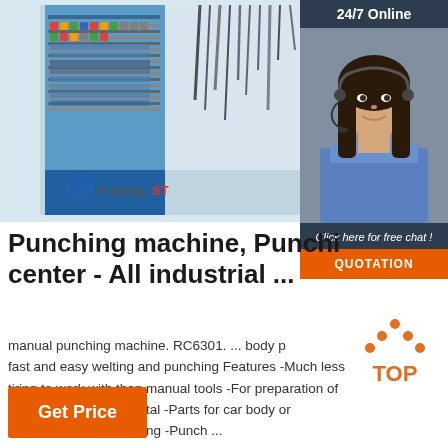[Figure (photo): Electrical control panel interior with blue DIN rails, terminal blocks, and wiring bundles. Anyang ST logo visible in lower left corner of image.]
[Figure (photo): 24/7 Online chat widget showing a smiling female customer service agent wearing a headset, with dark blue background header reading '24/7 Online', italic text 'Click here for free chat !', and orange QUOTATION button.]
Punching machine, Punching center - All industrial ...
manual punching machine. RC6301. ... body provides fast and easy welting and punching Features -Much less tiring to work with than manual tools -For preparation of up to 1.2 mm sheet metal -Parts for car body or aluminium before welding -Punch ...
[Figure (illustration): Orange and dark 'TOP' icon with upward-pointing chevron/arrow shape above the word TOP in orange text.]
Get Price